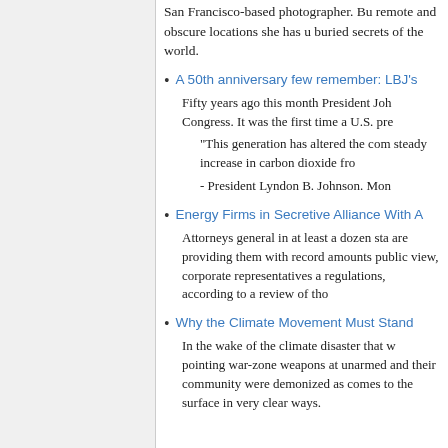San Francisco-based photographer. Bu remote and obscure locations she has u buried secrets of the world.
A 50th anniversary few remember: LBJ's
Fifty years ago this month President Joh Congress. It was the first time a U.S. pre
“This generation has altered the com steady increase in carbon dioxide fro
- President Lyndon B. Johnson. Mon
Energy Firms in Secretive Alliance With A
Attorneys general in at least a dozen sta are providing them with record amounts public view, corporate representatives a regulations, according to a review of tho
Why the Climate Movement Must Stand
In the wake of the climate disaster that w pointing war-zone weapons at unarmed and their community were demonized as comes to the surface in very clear ways.